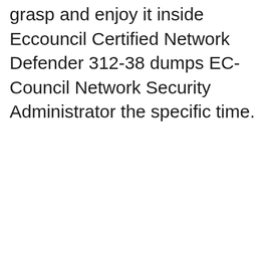grasp and enjoy it inside Eccouncil Certified Network Defender 312-38 dumps EC-Council Network Security Administrator the specific time.